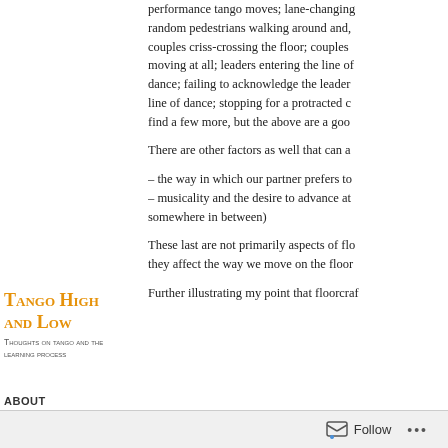performance tango moves; lane-changing random pedestrians walking around and, couples criss-crossing the floor; couples moving at all; leaders entering the line of dance; failing to acknowledge the leader line of dance; stopping for a protracted c find a few more, but the above are a goo
There are other factors as well that can a
Tango High and Low
Thoughts on tango and the learning process
– the way in which our partner prefers to – musicality and the desire to advance at somewhere in between)
These last are not primarily aspects of flo they affect the way we move on the floor
ABOUT
BIBLIOGRAPHY
Further illustrating my point that floorcraf
Follow